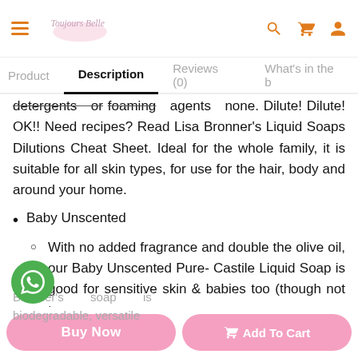Toujours Belle — navigation header with hamburger menu, logo, search, cart, and account icons
Product | Description | Reviews (0) | What's in the b
detergents or foaming agents none. Dilute! Dilute! OK!! Need recipes? Read Lisa Bronner's Liquid Soaps Dilutions Cheat Sheet. Ideal for the whole family, it is suitable for all skin types, for use for the hair, body and around your home.
Baby Unscented
With no added fragrance and double the olive oil, our Baby Unscented Pure-Castile Liquid Soap is good for sensitive skin & babies too (though not tear-
Bronner's soap is biodegradable, versatile
Buy Now | Add To Cart